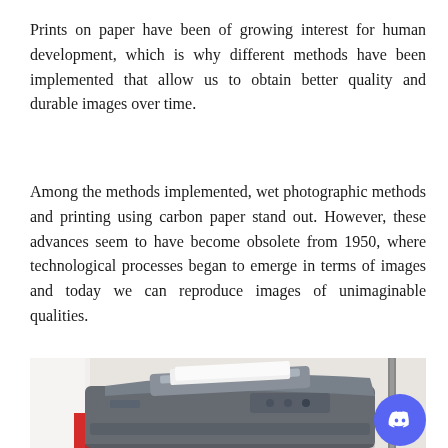Prints on paper have been of growing interest for human development, which is why different methods have been implemented that allow us to obtain better quality and durable images over time.
Among the methods implemented, wet photographic methods and printing using carbon paper stand out. However, these advances seem to have become obsolete from 1950, where technological processes began to emerge in terms of images and today we can reproduce images of unimaginable qualities.
[Figure (photo): A photograph of a printer/scanner device on a desk, partially visible at the bottom of the page. A Discord icon button is overlaid in the bottom-right corner.]